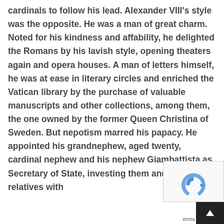cardinals to follow his lead. Alexander VIII's style was the opposite. He was a man of great charm. Noted for his kindness and affability, he delighted the Romans by his lavish style, opening theaters again and opera houses. A man of letters himself, he was at ease in literary circles and enriched the Vatican library by the purchase of valuable manuscripts and other collections, among them, the one owned by the former Queen Christina of Sweden. But nepotism marred his papacy. He appointed his grandnephew, aged twenty, cardinal nephew and his nephew Giambattista as Secretary of State, investing them and other relatives with